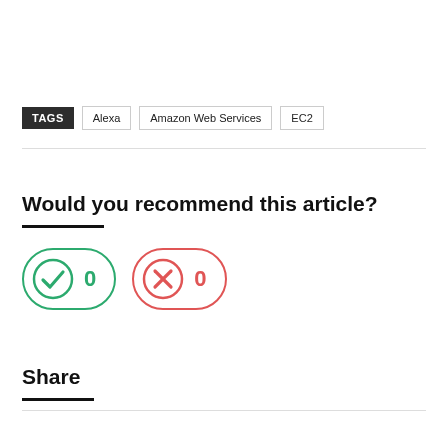TAGS  Alexa  Amazon Web Services  EC2
Would you recommend this article?
[Figure (infographic): Two voting buttons: a green checkmark button with count 0, and a red X button with count 0]
Share